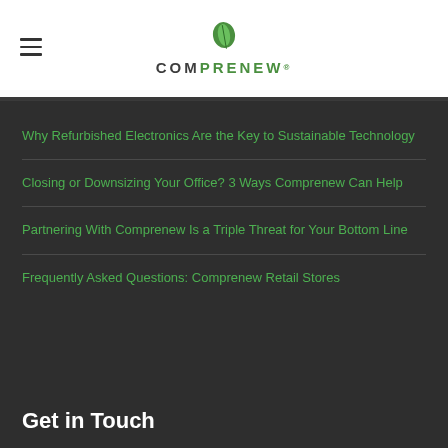[Figure (logo): Comprenew logo with green leaf icon above the text COMPRENEW with registered trademark symbol]
Why Refurbished Electronics Are the Key to Sustainable Technology
Closing or Downsizing Your Office? 3 Ways Comprenew Can Help
Partnering With Comprenew Is a Triple Threat for Your Bottom Line
Frequently Asked Questions: Comprenew Retail Stores
Get in Touch